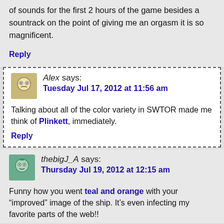of sounds for the first 2 hours of the game besides a sountrack on the point of giving me an orgasm it is so magnificent.
Reply
Alex says: Tuesday Jul 17, 2012 at 11:56 am
Talking about all of the color variety in SWTOR made me think of Plinkett, immediately.
Reply
thebigJ_A says: Thursday Jul 19, 2012 at 12:15 am
Funny how you went teal and orange with your “improved” image of the ship. It’s even infecting my favorite parts of the web!!